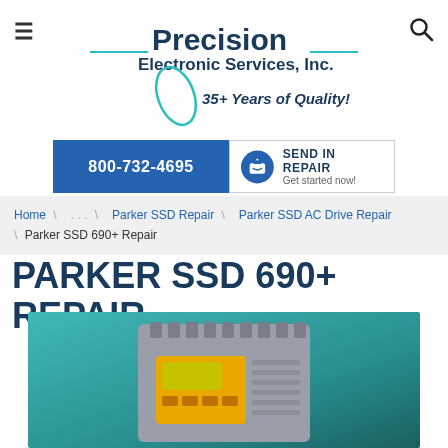≡  Precision Electronic Services, Inc. 35+ Years of Quality!  🔍
[Figure (logo): Precision Electronic Services, Inc. logo with teal horizontal lines and oval graphic, tagline '35+ Years of Quality!']
[Figure (infographic): Two CTA buttons: blue phone button '800-732-4695' and white 'SEND IN REPAIR / Get started now!' button with package icon]
Home \ ... \ Parker SSD Repair \ Parker SSD AC Drive Repair \ Parker SSD 690+ Repair
PARKER SSD 690+ REPAIR
[Figure (photo): Photo of Parker SSD 690+ AC drive unit, grey casing with yellow display panel, on teal/green gradient background]